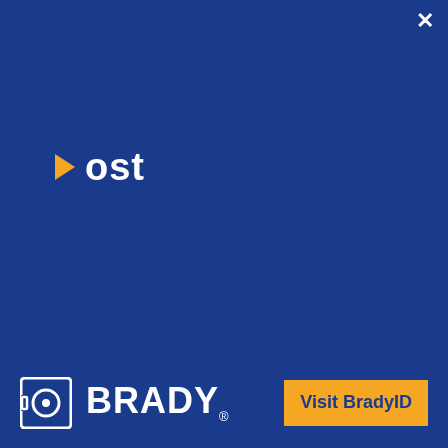×
▶ ost
[Figure (logo): Brady logo with icon and wordmark]
Visit BradyID